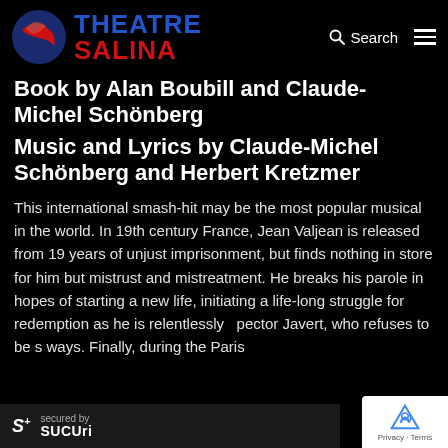[Figure (logo): Theatre Salina logo with circular emblem (blue and red) and text THEATRE SALINA in blue and red]
Book by Alan Boubill and Claude-Michel Schönberg
Music and Lyrics by Claude-Michel Schönberg and Herbert Kretzmer
This international smash-hit may be the most popular musical in the world. In 19th century France, Jean Valjean is released from 19 years of unjust imprisonment, but finds nothing in store for him but mistrust and mistreatment. He breaks his parole in hopes of starting a new life, initiating a life-long struggle for redemption as he is relentlessly pector Javert, who refuses to be s ways. Finally, during the Paris
[Figure (logo): Sucuri security badge with S+ logo and 'secured by Sucuri' text]
[Figure (logo): Google reCAPTCHA badge with Privacy and Terms links]